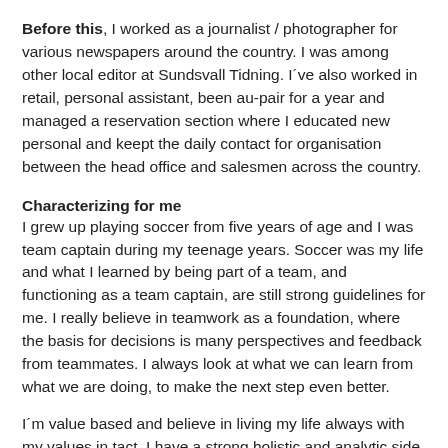Before this, I worked as a journalist / photographer for various newspapers around the country. I was among other local editor at Sundsvall Tidning. I´ve also worked in retail, personal assistant, been au-pair for a year and managed a reservation section where I educated new personal and keept the daily contact for organisation between the head office and salesmen across the country.
Characterizing for me
I grew up playing soccer from five years of age and I was team captain during my teenage years. Soccer was my life and what I learned by being part of a team, and functioning as a team captain, are still strong guidelines for me. I really believe in teamwork as a foundation, where the basis for decisions is many perspectives and feedback from teammates. I always look at what we can learn from what we are doing, to make the next step even better.
I´m value based and believe in living my life always with my values in tact. I have a strong holistic and analytic side, where I strive to always see the big picture, different perspectives and then make my analyzes as widely as possible. Because of my goal-oriented personality and